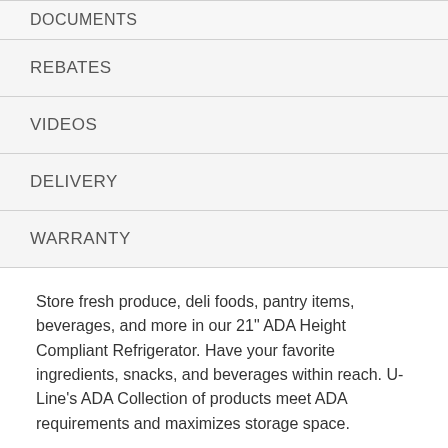DOCUMENTS
REBATES
VIDEOS
DELIVERY
WARRANTY
Store fresh produce, deli foods, pantry items, beverages, and more in our 21" ADA Height Compliant Refrigerator. Have your favorite ingredients, snacks, and beverages within reach. U-Line's ADA Collection of products meet ADA requirements and maximizes storage space.
FEATURES